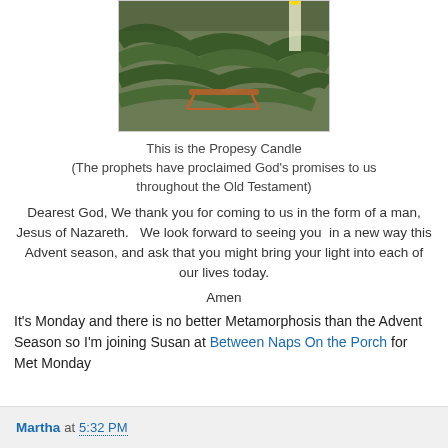[Figure (photo): Photo of pine/evergreen branches with small sled or candle decoration, partially cropped at top]
This is the Propesy Candle
(The prophets have proclaimed God's promises to us throughout the Old Testament)
Dearest God, We thank you for coming to us in the form of a man, Jesus of Nazareth.   We look forward to seeing you  in a new way this Advent season, and ask that you might bring your light into each of our lives today.
Amen
It's Monday and there is no better Metamorphosis than the Advent Season so I'm joining Susan at Between Naps On the Porch for Met Monday
Martha at 5:32 PM